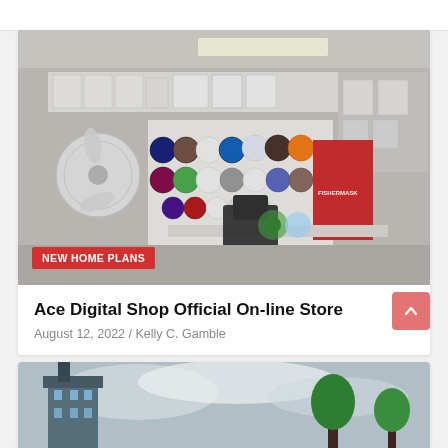[Figure (photo): Interior of an electronics/appliance shop showing fans, small appliances, and other home electronics displayed on shelves and walls. A red 'NEW HOME PLANS' badge overlays the bottom-left of the image.]
Ace Digital Shop Official On-line Store
August 12, 2022 / Kelly C. Gamble
[Figure (photo): Partial view of a building or tower structure against a cloudy sky with trees visible.]